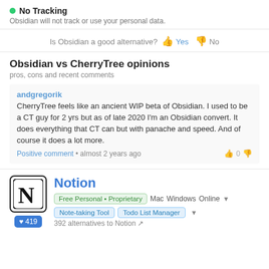No Tracking — Obsidian will not track or use your personal data.
Is Obsidian a good alternative? 👍 Yes 👎 No
Obsidian vs CherryTree opinions
pros, cons and recent comments
andgregorik
CherryTree feels like an ancient WIP beta of Obsidian. I used to be a CT guy for 2 yrs but as of late 2020 I'm an Obsidian convert. It does everything that CT can but with panache and speed. And of course it does a lot more.
Positive comment • almost 2 years ago   0
Notion
Free Personal • Proprietary   Mac   Windows   Online
Note-taking Tool   Todo List Manager
392 alternatives to Notion